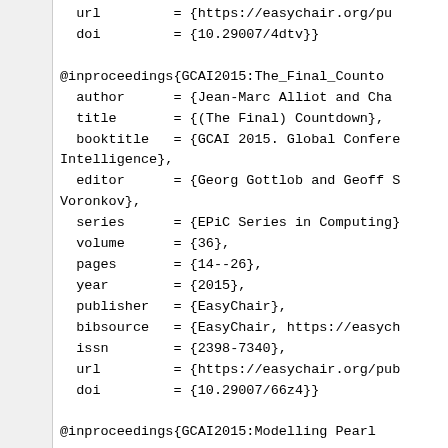url         = {https://easychair.org/pub
  doi         = {10.29007/4dtv}}

@inproceedings{GCAI2015:The_Final_Counto
  author      = {Jean-Marc Alliot and Char
  title       = {(The Final) Countdown},
  booktitle   = {GCAI 2015. Global Confere
Intelligence},
  editor      = {Georg Gottlob and Geoff S
Voronkov},
  series      = {EPiC Series in Computing}
  volume      = {36},
  pages       = {14--26},
  year        = {2015},
  publisher   = {EasyChair},
  bibsource   = {EasyChair, https://easych
  issn        = {2398-7340},
  url         = {https://easychair.org/pub
  doi         = {10.29007/66z4}}

@inproceedings{GCAI2015:Modelling Pearl